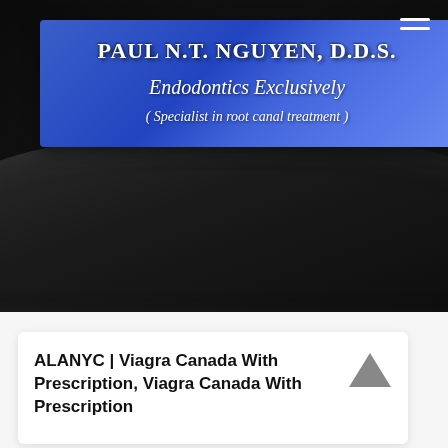[Figure (screenshot): Dark car dashboard background photo with a blue banner overlay showing a dental practice header. Top right has a hamburger menu icon (two white horizontal lines). The blue gradient banner reads: PAUL N.T. NGUYEN, D.D.S. / Endodontics Exclusively / ( Specialist in root canal treatment )]
PAUL N.T. NGUYEN, D.D.S.
Endodontics Exclusively
( Specialist in root canal treatment )
ALANYC | Viagra Canada With Prescription, Viagra Canada With Prescription...